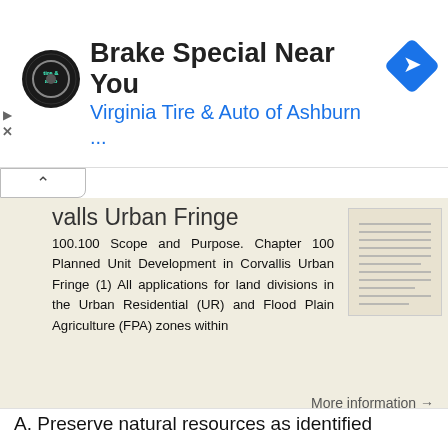[Figure (screenshot): Advertisement banner for Virginia Tire & Auto of Ashburn brake special, with logo, title text, subtitle in blue, and a blue diamond navigation arrow icon.]
valls Urban Fringe
100.100 Scope and Purpose. Chapter 100 Planned Unit Development in Corvallis Urban Fringe (1) All applications for land divisions in the Urban Residential (UR) and Flood Plain Agriculture (FPA) zones within
More information ➜
A. Preserve natural resources as identified in the Comprehensive Plan.
1370.08 Conservation Residential Overlay District. Subd. 1 Findings. The City finds that the lands and resources within the Conservation Residential Overlay District are a unique and valuable resource